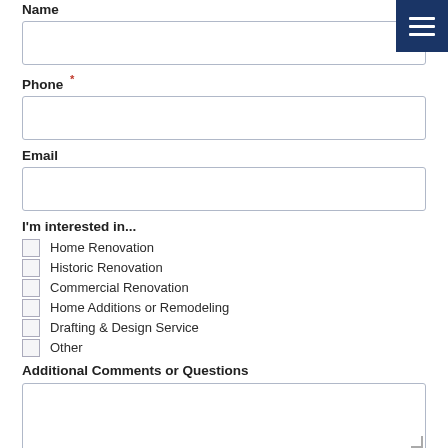Name
Phone *
Email
I'm interested in...
Home Renovation
Historic Renovation
Commercial Renovation
Home Additions or Remodeling
Drafting & Design Service
Other
Additional Comments or Questions